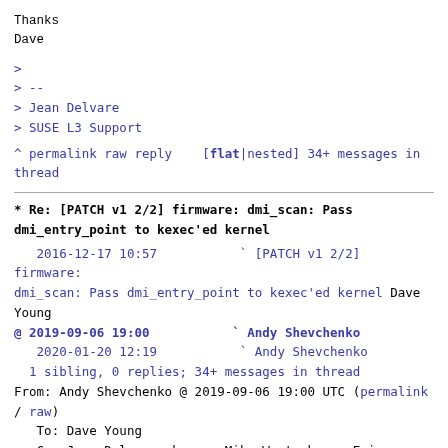Thanks
Dave
>
> --
> Jean Delvare
> SUSE L3 Support
^ permalink raw reply   [flat|nested] 34+ messages in thread
* Re: [PATCH v1 2/2] firmware: dmi_scan: Pass dmi_entry_point to kexec'ed kernel
2016-12-17 10:57           ` [PATCH v1 2/2] firmware: dmi_scan: Pass dmi_entry_point to kexec'ed kernel Dave Young
@ 2019-09-06 19:00           ` Andy Shevchenko
   2020-01-20 12:19           ` Andy Shevchenko
  1 sibling, 0 replies; 34+ messages in thread
From: Andy Shevchenko @ 2019-09-06 19:00 UTC (permalink / raw)
   To: Dave Young
   Cc: Jean Delvare, kexec, Mika Westerberg, Eric Biederman,
       linux-kernel, linux-efi, matt, ard.biesheuvel
On Sat, Dec 17, 2016 at 06:57:21PM +0800, Dave Young wrote: